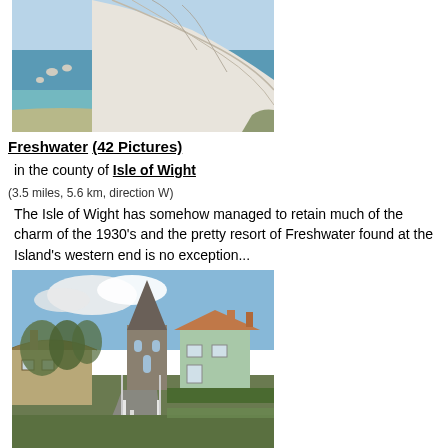[Figure (photo): Aerial view of white chalk cliffs with turquoise sea below, The Needles area of Isle of Wight]
Freshwater (42 Pictures)
in the county of Isle of Wight
(3.5 miles, 5.6 km, direction W)
The Isle of Wight has somehow managed to retain much of the charm of the 1930's and the pretty resort of Freshwater found at the Island's western end is no exception...
[Figure (photo): Village road with stone church tower and thatched cottage buildings, Freshwater, Isle of Wight]